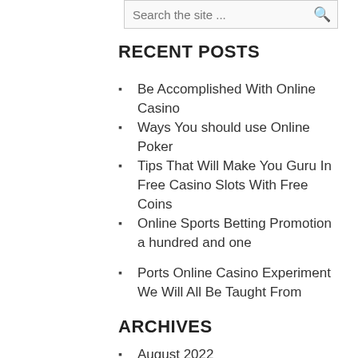RECENT POSTS
Be Accomplished With Online Casino
Ways You should use Online Poker
Tips That Will Make You Guru In Free Casino Slots With Free Coins
Online Sports Betting Promotion a hundred and one
Ports Online Casino Experiment We Will All Be Taught From
ARCHIVES
August 2022
July 2022
June 2022
May 2022
April 2022